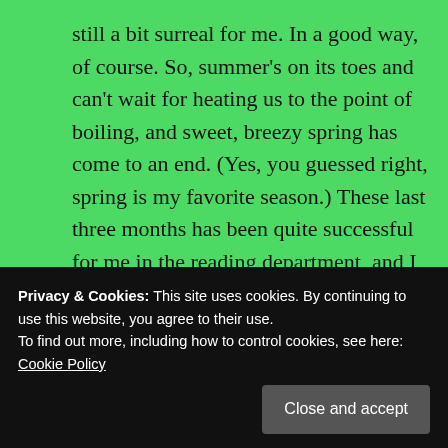still a bit surreal for me. In a good way, of course. So, summer's on its toes and can't wait for heating us to the point of boiling, and sweet, breezy spring has come to an end. (Yes, you guessed right, spring is my favorite season.) These last three months has been quite successful for me in the reading department, and I can't wait to share you which books I loved the most!
Share this:
Privacy & Cookies: This site uses cookies. By continuing to use this website, you agree to their use.
To find out more, including how to control cookies, see here: Cookie Policy